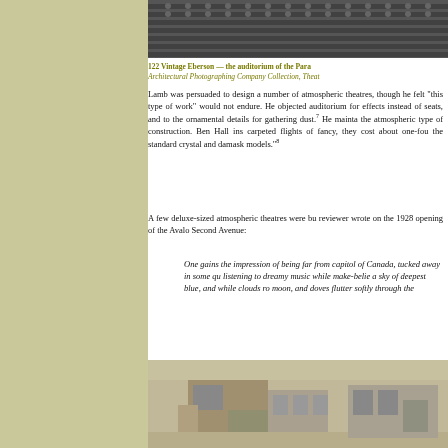[Figure (photo): Black and white photo of the auditorium interior of the Paramount theatre showing rows of seats from above]
122 Vintage Eberson — the auditorium of the Paramount  Architectural Photographing Company Collection, Theatre
Lamb was persuaded to design a number of atmospheric theatres, though he felt "this type of work" would not endure. He objected to sacrificing space in the auditorium for effects instead of seats, and to the ornamental details for gathering dust.7 He maintained his objections to the atmospheric type of construction. Ben Hall insisted that, for carpeted flights of fancy, they cost about one-fourth less to build than the standard crystal and damask models."8
A few deluxe-sized atmospheric theatres were built. A reviewer wrote on the 1928 opening of the Avalon on Second Avenue:
One gains the impression of being far from the capitol of Canada, tucked away in some quiet spot, listening to dreamy music while make-believe stars light a sky of deepest blue, and while clouds roll past the moon, and doves flutter softly through the
[Figure (photo): Black and white illustration or photo of an atmospheric theatre exterior or interior showing architectural details]